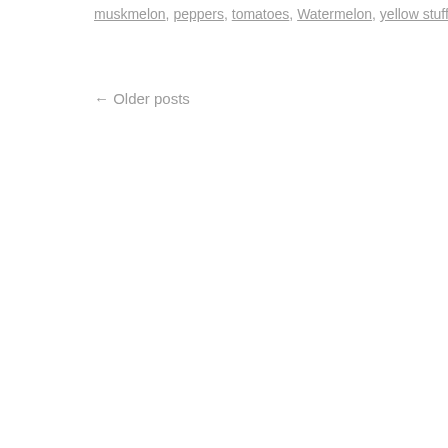muskmelon, peppers, tomatoes, Watermelon, yellow stuffer tomato | Leave a
← Older posts